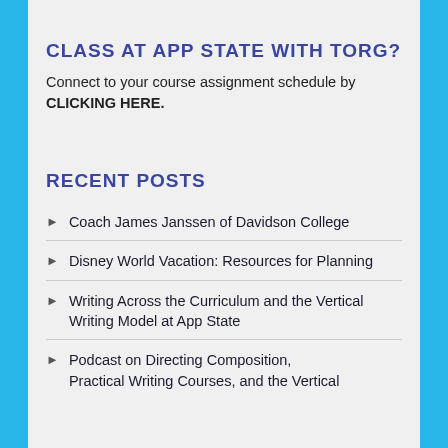CLASS AT APP STATE WITH TORG?
Connect to your course assignment schedule by CLICKING HERE.
RECENT POSTS
Coach James Janssen of Davidson College
Disney World Vacation: Resources for Planning
Writing Across the Curriculum and the Vertical Writing Model at App State
Podcast on Directing Composition, Practical Writing Courses, and the Vertical...